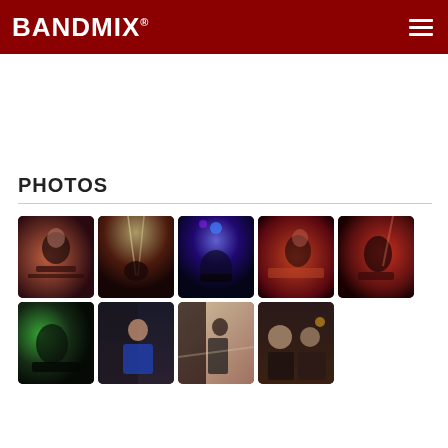BANDMIX®
PHOTOS
[Figure (photo): Photo gallery grid showing musicians performing on stage with stage lighting and two casual/off-stage photos. Row 1: 5 photos of guitarists on stage with red/purple/blue stage lights. Row 2: 4 photos including a guitarist on stage with green light, a man in blue shirt, a woman on stairs, and two people at an indoor venue.]